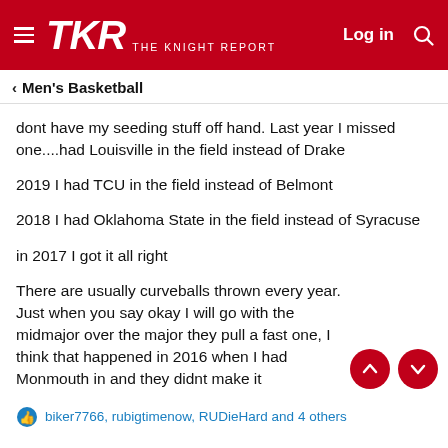TKR THE KNIGHT REPORT  Log in [search]
< Men's Basketball
dont have my seeding stuff off hand. Last year I missed one....had Louisville in the field instead of Drake
2019 I had TCU in the field instead of Belmont
2018 I had Oklahoma State in the field instead of Syracuse
in 2017 I got it all right
There are usually curveballs thrown every year. Just when you say okay I will go with the midmajor over the major they pull a fast one, I think that happened in 2016 when I had Monmouth in and they didnt make it
biker7766, rubigtimenow, RUDieHard and 4 others